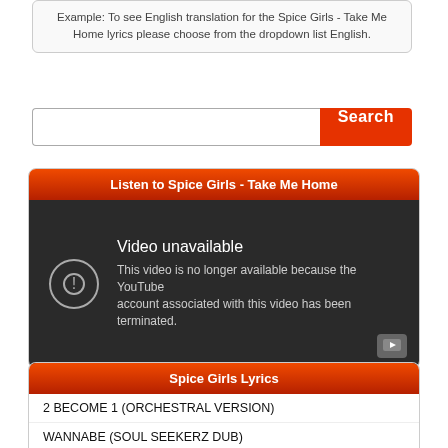Example: To see English translation for the Spice Girls - Take Me Home lyrics please choose from the dropdown list English.
[Figure (screenshot): Search input field with orange Search button]
Listen to Spice Girls - Take Me Home
[Figure (screenshot): Embedded YouTube video player showing 'Video unavailable - This video is no longer available because the YouTube account associated with this video has been terminated.']
Spice Girls Lyrics
2 BECOME 1 (ORCHESTRAL VERSION)
WANNABE (SOUL SEEKERZ DUB)
STOP (INSTRUMENTAL)
VIVA FOREVER (TONY RICH INSTRUMENTAL)